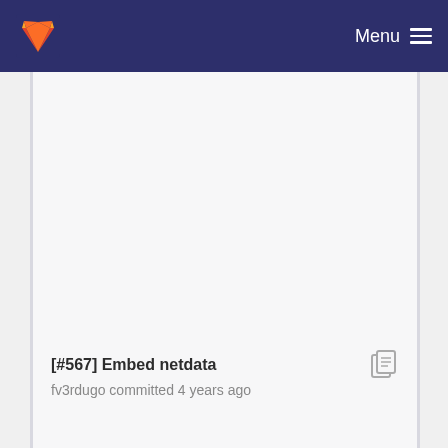Menu
[Figure (screenshot): Empty file browser area in GitLab repository view]
[#567] Embed netdata
fv3rdugo committed 4 years ago